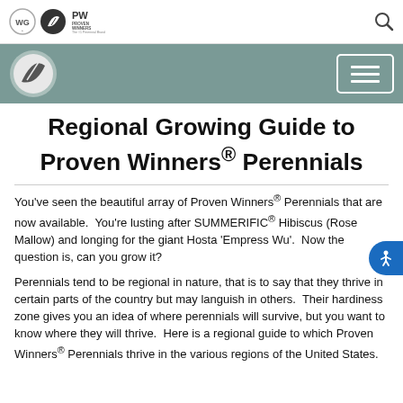Regional Growing Guide to Proven Winners® Perennials — website header with logos and navigation
Regional Growing Guide to Proven Winners® Perennials
You've seen the beautiful array of Proven Winners® Perennials that are now available. You're lusting after SUMMERIFIC® Hibiscus (Rose Mallow) and longing for the giant Hosta 'Empress Wu'. Now the question is, can you grow it?
Perennials tend to be regional in nature, that is to say that they thrive in certain parts of the country but may languish in others. Their hardiness zone gives you an idea of where perennials will survive, but you want to know where they will thrive. Here is a regional guide to which Proven Winners® Perennials thrive in the various regions of the United States.